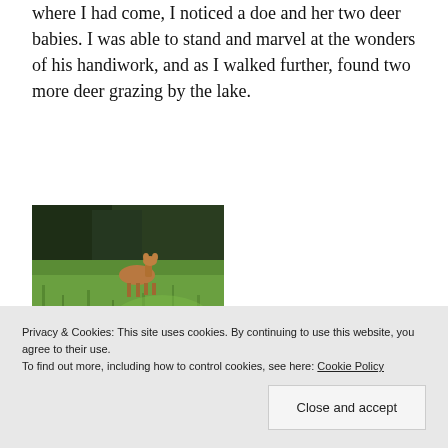where I had come, I noticed a doe and her two deer babies. I was able to stand and marvel at the wonders of his handiwork, and as I walked further, found two more deer grazing by the lake.
[Figure (photo): Photo of deer in a grassy meadow with trees in the background. One adult deer stands in the upper portion, a fawn lies in the middle grass, and another fawn looks toward the camera in the lower left.]
Privacy & Cookies: This site uses cookies. By continuing to use this website, you agree to their use.
To find out more, including how to control cookies, see here: Cookie Policy
Close and accept